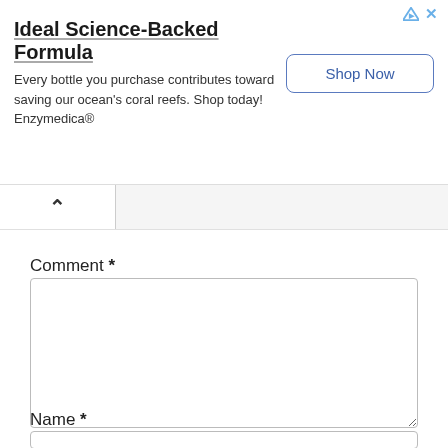[Figure (screenshot): Advertisement banner for Enzymedica. Title: 'Ideal Science-Backed Formula'. Body text: 'Every bottle you purchase contributes toward saving our ocean's coral reefs. Shop today! Enzymedica®'. A 'Shop Now' button on the right.]
Comment *
[Figure (screenshot): Empty comment textarea input box]
Name *
[Figure (screenshot): Empty name text input field]